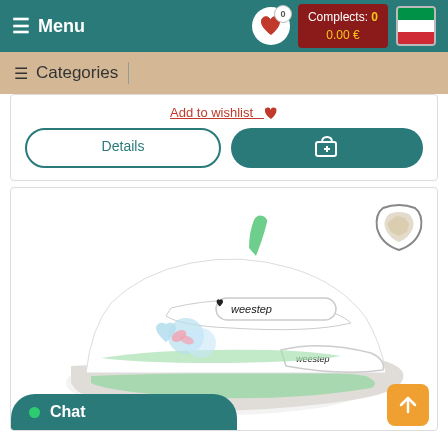≡ Menu | Complects: 0  0.00 €
≡ Categories
Add to wishlist ♥
Details | [cart button]
[Figure (photo): White and green children's sandal from Weestep brand with velcro straps, colorful heart decorations, and a leather material icon in the upper right corner]
Chat